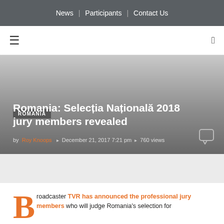News | Participants | Contact Us
ROMANIA
Romania: Selecția Națională 2018 jury members revealed
by Roy Knoops  December 21, 2017 7:21 pm  760 views
Broadcaster TVR has announced the professional jury members who will judge Romania's selection for